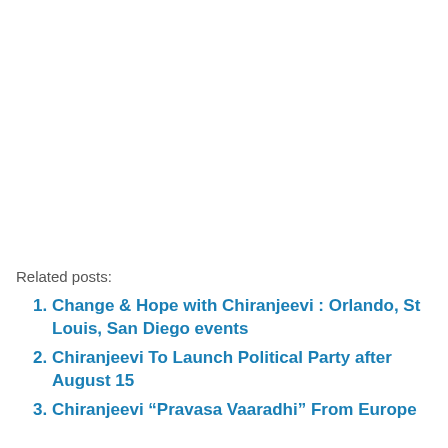Related posts:
Change & Hope with Chiranjeevi : Orlando, St Louis, San Diego events
Chiranjeevi To Launch Political Party after August 15
Chiranjeevi “Pravasa Vaaradhi” From Europe